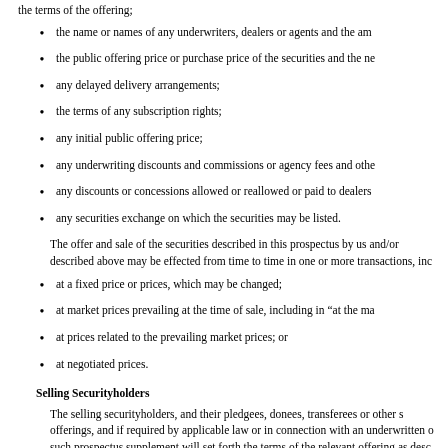the terms of the offering;
the name or names of any underwriters, dealers or agents and the am
the public offering price or purchase price of the securities and the ne
any delayed delivery arrangements;
the terms of any subscription rights;
any initial public offering price;
any underwriting discounts and commissions or agency fees and othe
any discounts or concessions allowed or reallowed or paid to dealers
any securities exchange on which the securities may be listed.
The offer and sale of the securities described in this prospectus by us and/or described above may be effected from time to time in one or more transactions, inc
at a fixed price or prices, which may be changed;
at market prices prevailing at the time of sale, including in “at the ma
at prices related to the prevailing market prices; or
at negotiated prices.
Selling Securityholders
The selling securityholders, and their pledgees, donees, transferees or other s offerings, and if required by applicable law or in connection with an underwritten o such prospectus supplement will set forth the terms of the relevant offering as desc